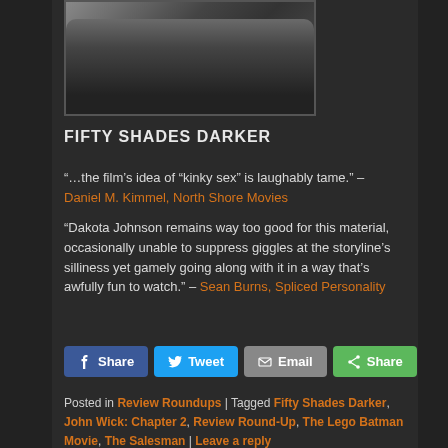[Figure (photo): Photo of two people, partially cropped at top]
FIFTY SHADES DARKER
“…the film’s idea of “kinky sex” is laughably tame.” – Daniel M. Kimmel, North Shore Movies
“Dakota Johnson remains way too good for this material, occasionally unable to suppress giggles at the storyline’s silliness yet gamely going along with it in a way that’s awfully fun to watch.” – Sean Burns, Spliced Personality
Posted in Review Roundups | Tagged Fifty Shades Darker, John Wick: Chapter 2, Review Round-Up, The Lego Batman Movie, The Salesman | Leave a reply